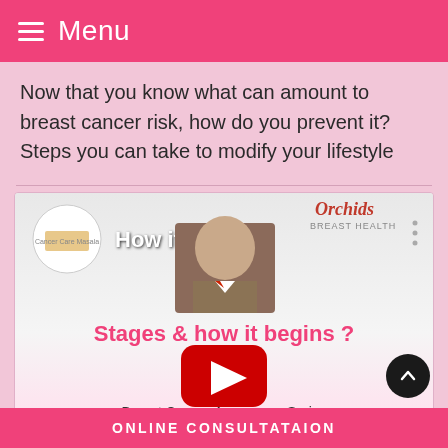Menu
Now that you know what can amount to breast cancer risk, how do you prevent it? Steps you can take to modify your lifestyle
[Figure (screenshot): YouTube video thumbnail showing a man in a suit with title 'How it begins?' and overlay text 'Stages & how it begins ?' with YouTube play button. Orchids Breast Health branding in top right. Caption: Breast Cancer Awareness Series.]
ONLINE CONSULTATAION